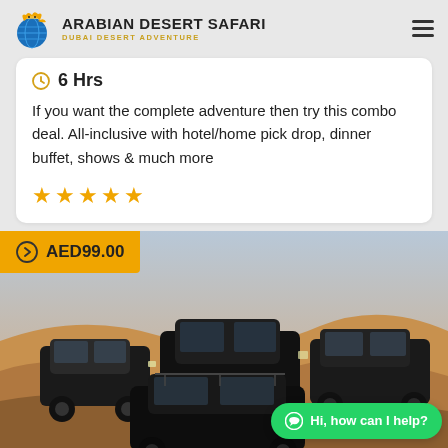[Figure (logo): Arabian Desert Safari logo with globe and animal motif, brand name and subtitle Dubai Desert Adventure]
6 Hrs
If you want the complete adventure then try this combo deal. All-inclusive with hotel/home pick drop, dinner buffet, shows & much more
[Figure (other): Five gold star rating icons]
AED99.00
[Figure (photo): Multiple black SUV 4x4 vehicles driving on desert sand dunes]
Hi, how can I help?